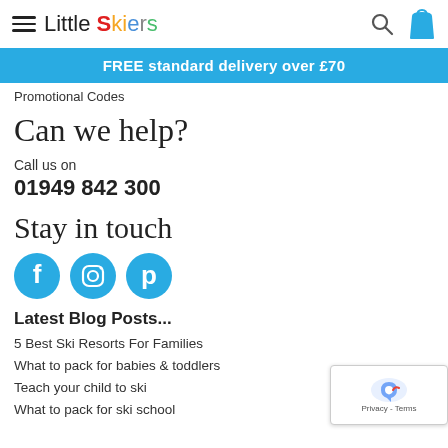Little Skiers
FREE standard delivery over £70
Promotional Codes
Can we help?
Call us on
01949 842 300
Stay in touch
[Figure (illustration): Three circular social media icons: Facebook (f), Instagram (camera), Pinterest (p), all in cyan/blue color]
Latest Blog Posts...
5 Best Ski Resorts For Families
What to pack for babies & toddlers
Teach your child to ski
What to pack for ski school